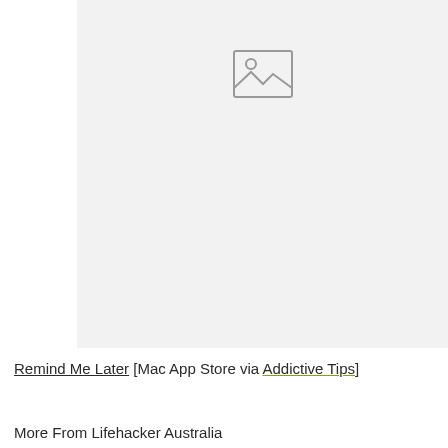[Figure (photo): Placeholder image area with a broken image icon (rectangle with mountain/sun icon) on a light gray background]
Remind Me Later [Mac App Store via Addictive Tips]
More From Lifehacker Australia